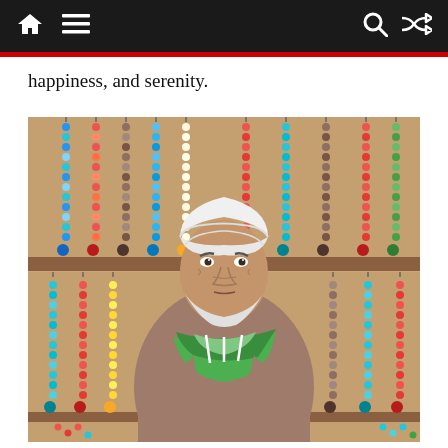[navigation bar with home, menu, search, shuffle icons]
happiness, and serenity.
[Figure (illustration): Painting of an elderly Middle Eastern bead/prayer beads merchant wearing a white turban and green sash, seated among numerous colorful hanging bead necklaces/rosaries (tasbih) displayed on a wooden rack behind him. The beads are in many colors including turquoise, red, brown, green, yellow, and blue. The style is painterly and detailed.]